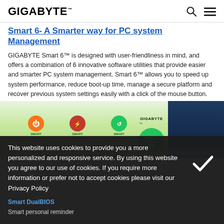GIGABYTE
Smart 6- A Smarter way for PC system Management
GIGABYTE Smart 6™ is designed with user-friendliness in mind, and offers a combination of 6 innovative software utilities that provide easier and smarter PC system management. Smart 6™ allows you to speed up system performance, reduce boot-up time, manage a secure platform and recover previous system settings easily with a click of the mouse button.
[Figure (screenshot): GIGABYTE Smart 6 software panel showing Smart QuickBoot, Smart QuickBoost, Smart Recovery icons with GIGABYTE logo and Smart 6 badge, alongside a 3D Industry graphic panel]
This website uses cookies to provide you a more personalized and responsive service. By using this website you agree to our use of cookies. If you require more information or prefer not to accept cookies please visit our Privacy Policy
Smart DualBIOS
Smart personal reminder